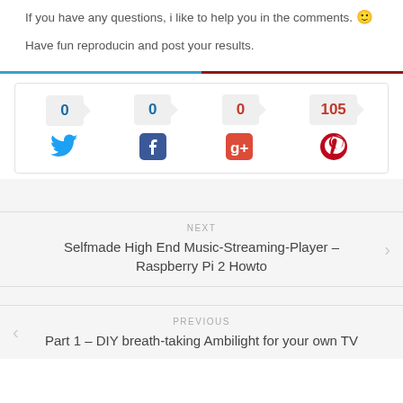If you have any questions, i like to help you in the comments. 🙂
Have fun reproducin and post your results.
[Figure (infographic): Social share counts row: Twitter (0), Facebook (0), Google+ (0), Pinterest (105) with icons below each count badge]
NEXT
Selfmade High End Music-Streaming-Player – Raspberry Pi 2 Howto
PREVIOUS
Part 1 – DIY breath-taking Ambilight for your own TV